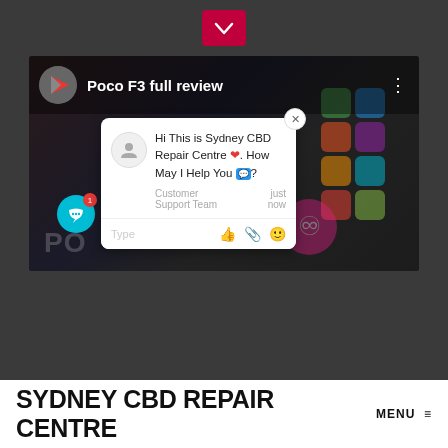[Figure (screenshot): Screenshot of a video player showing 'Poco F3 full review' with a live chat popup from Sydney CBD Repair Centre overlaid on the video thumbnail. The chat shows a message: 'Hi This is Sydney CBD Repair Centre ❤️. How May I Help You 💬?' from Customer Support Team with icons for type, thumbs up, paperclip, and emoji at the bottom.]
SYDNEY CBD REPAIR CENTRE
MENU ≡